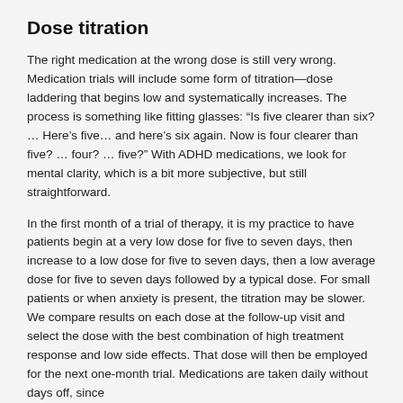Dose titration
The right medication at the wrong dose is still very wrong. Medication trials will include some form of titration—dose laddering that begins low and systematically increases. The process is something like fitting glasses: “Is five clearer than six? … Here’s five… and here’s six again. Now is four clearer than five? … four? … five?” With ADHD medications, we look for mental clarity, which is a bit more subjective, but still straightforward.
In the first month of a trial of therapy, it is my practice to have patients begin at a very low dose for five to seven days, then increase to a low dose for five to seven days, then a low average dose for five to seven days followed by a typical dose. For small patients or when anxiety is present, the titration may be slower. We compare results on each dose at the follow-up visit and select the dose with the best combination of high treatment response and low side effects. That dose will then be employed for the next one-month trial. Medications are taken daily without days off, since